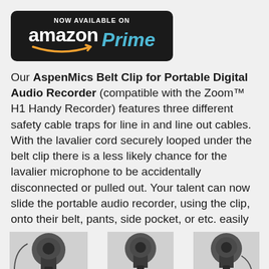[Figure (logo): Amazon Prime 'Now Available On Amazon Prime' badge with dark rounded rectangle background, white Amazon text with orange smile arrow, blue italic Prime text]
Our AspenMics Belt Clip for Portable Digital Audio Recorder (compatible with the Zoom™ H1 Handy Recorder) features three different safety cable traps for line in and line out cables. With the lavalier cord securely looped under the belt clip there is a less likely chance for the lavalier microphone to be accidentally disconnected or pulled out. Your talent can now slide the portable audio recorder, using the clip, onto their belt, pants, side pocket, or etc. easily be taken on or off.
[Figure (photo): Three product photos of AspenMics belt clip for portable digital audio recorder, showing the clip with microphone cable attached from different angles, grayscale/dark images at bottom of page]